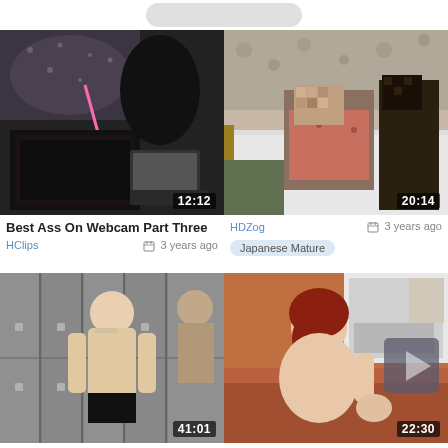[Figure (screenshot): Video thumbnail 1: Best Ass On Webcam Part Three, duration 12:12]
[Figure (screenshot): Video thumbnail 2: Japanese Mature, duration 20:14]
Best Ass On Webcam Part Three
HClips  3 years ago
HDZog  3 years ago
Japanese Mature
[Figure (screenshot): Video thumbnail 3: locker room, duration 41:01]
[Figure (screenshot): Video thumbnail 4: redhead woman, duration 22:30]